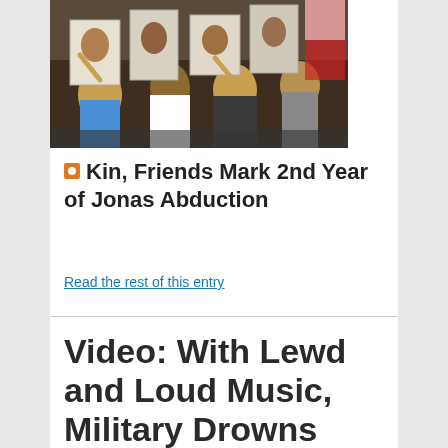[Figure (photo): Crowd of people at a protest/rally, holding signs and photos, with raised fists and emotional expressions.]
Kin, Friends Mark 2nd Year of Jonas Abduction
Read the rest of this entry
Video: With Lewd and Loud Music, Military Drowns Out Calls for Justice, Prayers for Jonas Burgos